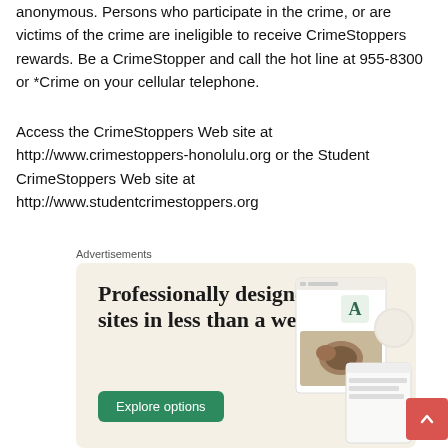anonymous. Persons who participate in the crime, or are victims of the crime are ineligible to receive CrimeStoppers rewards. Be a CrimeStopper and call the hot line at 955-8300 or *Crime on your cellular telephone.
Access the CrimeStoppers Web site at http://www.crimestoppers-honolulu.org or the Student CrimeStoppers Web site at http://www.studentcrimestoppers.org
Advertisements
[Figure (illustration): Advertisement banner with cream/beige background. Text reads 'Professionally designed sites in less than a week' with a green 'Explore options' button and website mockup images on the right side.]